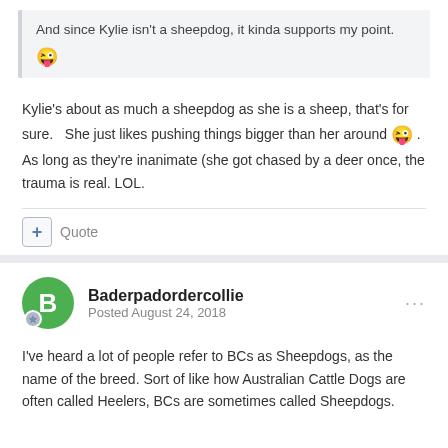And since Kylie isn't a sheepdog, it kinda supports my point. 😜
Kylie's about as much a sheepdog as she is a sheep, that's for sure.   She just likes pushing things bigger than her around 😜 . As long as they're inanimate (she got chased by a deer once, the trauma is real. LOL.
+ Quote
Baderpadordercollie
Posted August 24, 2018
I've heard a lot of people refer to BCs as Sheepdogs, as the name of the breed. Sort of like how Australian Cattle Dogs are often called Heelers, BCs are sometimes called Sheepdogs.